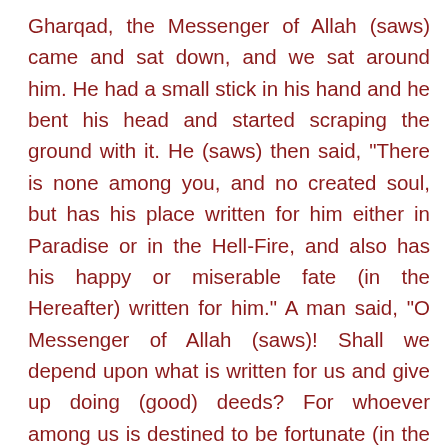Gharqad, the Messenger of Allah (saws) came and sat down, and we sat around him. He had a small stick in his hand and he bent his head and started scraping the ground with it. He (saws) then said, "There is none among you, and no created soul, but has his place written for him either in Paradise or in the Hell-Fire, and also has his happy or miserable fate (in the Hereafter) written for him." A man said, "O Messenger of Allah (saws)! Shall we depend upon what is written for us and give up doing (good) deeds? For whoever among us is destined to be fortunate (in the Hereafter), will join the fortunate peoples; and whoever among us is destined to be miserable will do such deeds as are characteristic of the people who are destined to misery." The Prophet